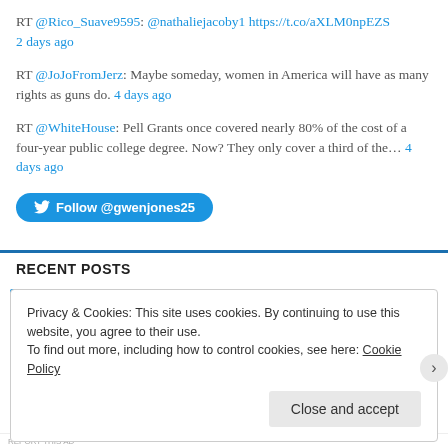RT @Rico_Suave9595: @nathaliejacoby1 https://t.co/aXLM0npEZS 2 days ago
RT @JoJoFromJerz: Maybe someday, women in America will have as many rights as guns do. 4 days ago
RT @WhiteHouse: Pell Grants once covered nearly 80% of the cost of a four-year public college degree. Now? They only cover a third of the... 4 days ago
Follow @gwenjones25
RECENT POSTS
Privacy & Cookies: This site uses cookies. By continuing to use this website, you agree to their use. To find out more, including how to control cookies, see here: Cookie Policy
Close and accept